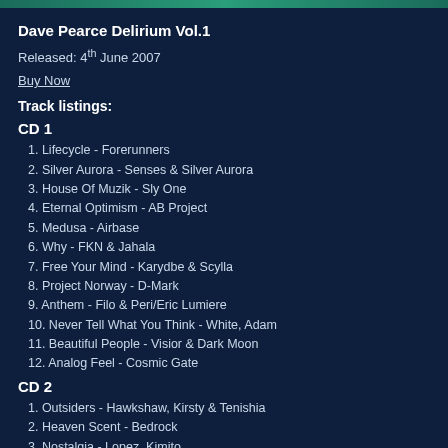Dave Pearce Delirium Vol.1
Released: 4th June 2007
Buy Now
Track listings:
CD 1
1. Lifecycle - Forerunners
2. Silver Aurora - Senses & Silver Aurora
3. House Of Muzik - Sly One
4. Eternal Optimism - AB Project
5. Medusa - Airbase
6. Why - FKN & Jahala
7. Free Your Mind - Karydbe & Scylla
8. Project Norway - D-Mark
9. Anthem - Filo & Peri/Eric Lumiere
10. Never Tell What You Think - White, Adam
11. Beautiful People - Visior & Dark Moon
12. Analog Feel - Cosmic Gate
CD 2
1. Outsiders - Hawkshaw, Kirsty & Tenishia
2. Heaven Scent - Bedrock
3. Nostalgia - Lopez, Kimito
4. Drifting - Corderoy